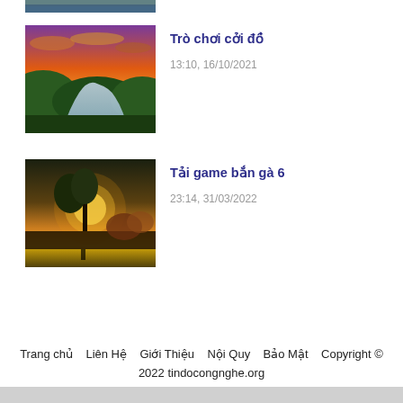[Figure (photo): Partial top thumbnail image of a landscape with water, partially cropped at top of page]
[Figure (photo): Landscape photo with a winding river and forested hills at sunset with dramatic orange and purple sky]
Trò chơi cởi đồ
13:10, 16/10/2021
[Figure (photo): Landscape photo with a glowing golden sunset reflecting on a lake with a large tree silhouette]
Tải game bắn gà 6
23:14, 31/03/2022
Trang chủ   Liên Hệ   Giới Thiệu   Nội Quy   Bảo Mật   Copyright © 2022 tindocongnghe.org